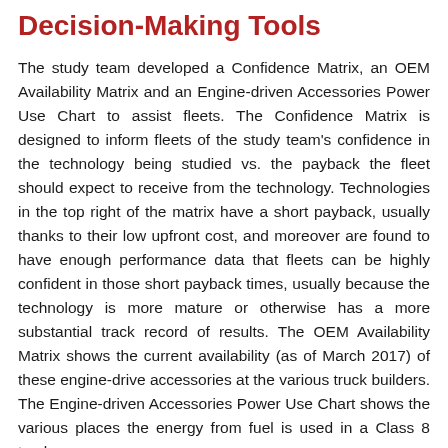Decision-Making Tools
The study team developed a Confidence Matrix, an OEM Availability Matrix and an Engine-driven Accessories Power Use Chart to assist fleets. The Confidence Matrix is designed to inform fleets of the study team's confidence in the technology being studied vs. the payback the fleet should expect to receive from the technology. Technologies in the top right of the matrix have a short payback, usually thanks to their low upfront cost, and moreover are found to have enough performance data that fleets can be highly confident in those short payback times, usually because the technology is more mature or otherwise has a more substantial track record of results. The OEM Availability Matrix shows the current availability (as of March 2017) of these engine-drive accessories at the various truck builders. The Engine-driven Accessories Power Use Chart shows the various places the energy from fuel is used in a Class 8 truck.